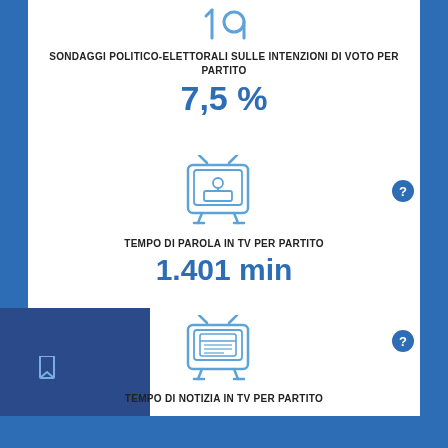[Figure (illustration): Stylized number 19 icon in blue outline style at the top]
SONDAGGI POLITICO-ELETTORALI SULLE INTENZIONI DI VOTO PER PARTITO
7,5 %
[Figure (illustration): TV icon with a person/debate scene inside, blue outline style]
TEMPO DI PAROLA IN TV PER PARTITO
1.401 min
[Figure (illustration): TV icon with a newspaper inside, blue outline style]
TEMPO DI NOTIZIA IN TV PER PARTITO